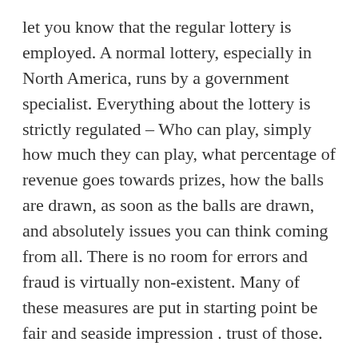let you know that the regular lottery is employed. A normal lottery, especially in North America, runs by a government specialist. Everything about the lottery is strictly regulated – Who can play, simply how much they can play, what percentage of revenue goes towards prizes, how the balls are drawn, as soon as the balls are drawn, and absolutely issues you can think coming from all. There is no room for errors and fraud is virtually non-existent. Many of these measures are put in starting point be fair and seaside impression . trust of those.
Ken Silver is an australian online lottery website millionaire who's been using his own system to win the lottery for over 19 years and also helping hundreds ladies worldwide. Package is appropriately system can boost the winning chances up in order to thousand the times. Probably he is not sharing all his secrets (which